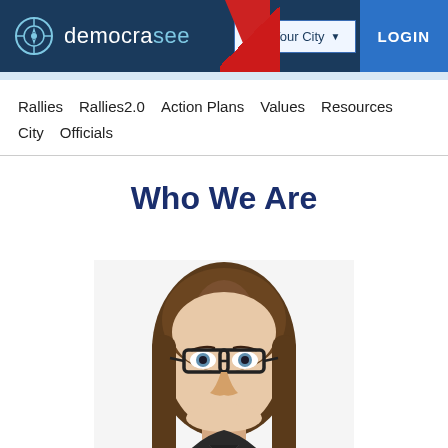democrasee — Set Your City — LOGIN
Rallies  Rallies2.0  Action Plans  Values  Resources  City  Officials
Who We Are
[Figure (photo): Headshot of a young woman with long brown hair and glasses, looking directly at camera, white background.]